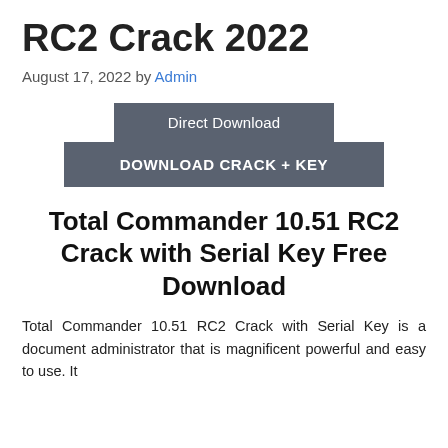RC2 Crack 2022
August 17, 2022 by Admin
[Figure (other): Download buttons: 'Direct Download' (smaller, upper) and 'DOWNLOAD CRACK + KEY' (larger, lower), both dark gray/slate colored]
Total Commander 10.51 RC2 Crack with Serial Key Free Download
Total Commander 10.51 RC2 Crack with Serial Key is a document administrator that is magnificent powerful and easy to use. It